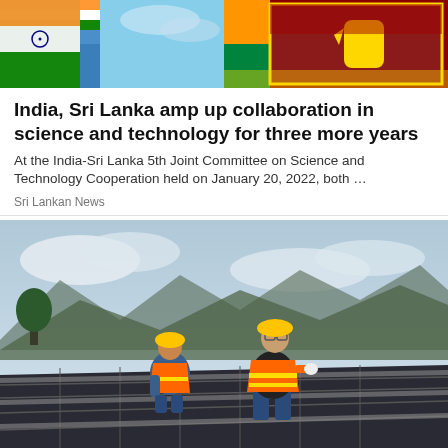[Figure (photo): Two flags side by side: Indian flag (left) and Sri Lankan flag (right)]
India, Sri Lanka amp up collaboration in science and technology for three more years
At the India-Sri Lanka 5th Joint Committee on Science and Technology Cooperation held on January 20, 2022, both …
Sri Lankan News
[Figure (photo): Two workers in orange high-visibility vests and yellow hard hats installing solar panels on a rooftop, with mountains and cloudy sky in the background]